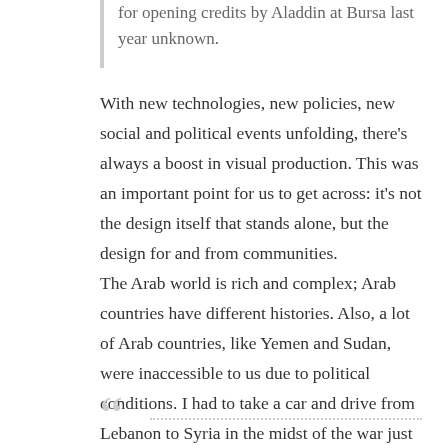for opening credits by Aladdin at Bursa last year unknown.
With new technologies, new policies, new social and political events unfolding, there's always a boost in visual production. This was an important point for us to get across: it's not the design itself that stands alone, but the design for and from communities.
The Arab world is rich and complex; Arab countries have different histories. Also, a lot of Arab countries, like Yemen and Sudan, were inaccessible to us due to political conditions. I had to take a car and drive from Lebanon to Syria in the midst of the war just to be able to meet some of the designers and collect their work. It wasn't a smooth ride in that sense.
[Figure (other): Opening quotation marks decorative element with dotted rule line at bottom of page]